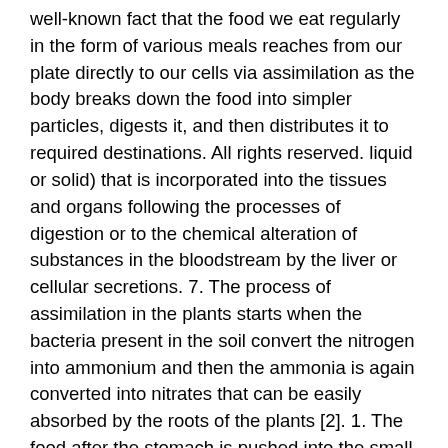well-known fact that the food we eat regularly in the form of various meals reaches from our plate directly to our cells via assimilation as the body breaks down the food into simpler particles, digests it, and then distributes it to required destinations. All rights reserved. liquid or solid) that is incorporated into the tissues and organs following the processes of digestion or to the chemical alteration of substances in the bloodstream by the liver or cellular secretions. 7. The process of assimilation in the plants starts when the bacteria present in the soil convert the nitrogen into ammonium and then the ammonia is again converted into nitrates that can be easily absorbed by the roots of the plants [2]. 1. The food after the stomach is pushed into the small intestine, where it is mixed with liver bile and pancreatic juices. 2. Many factors affect the assimilation of nutrients. Assimilation policies, in turn, are based on the idea that immigrants should adopt the language, customs, and values of the national majorities,